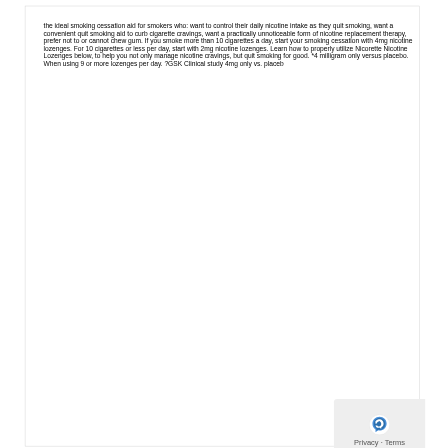the ideal smoking cessation aid for smokers who: want to control their daily nicotine intake as they quit smoking, want a convenient quit smoking aid to curb cigarette cravings, want a practically unnoticeable form of nicotine replacement therapy, prefer not to or cannot chew gum. If you smoke more than 10 cigarettes a day, start your smoking cessation with 4mg nicotine lozenges. For 10 cigarettes or less per day, start with 2mg nicotine lozenges. Learn how to properly utilize Nicorette Nicotine Lozenges below, to help you not only manage nicotine cravings, but quit smoking for good. *4 milligram only versus placebo. When using 9 or more lozenges per day. ?GSK Clinical study 4mg only vs. placeb
[Figure (other): reCAPTCHA logo and Privacy-Terms badge in bottom-right corner]